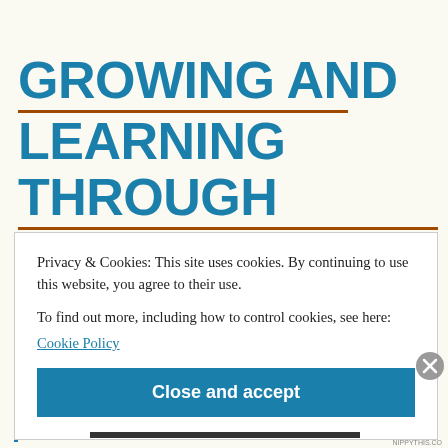GROWING AND LEARNING THROUGH MUSIC
Privacy & Cookies: This site uses cookies. By continuing to use this website, you agree to their use.
To find out more, including how to control cookies, see here:
Cookie Policy
Close and accept